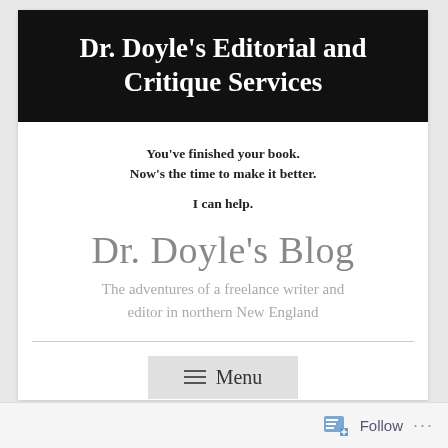Dr. Doyle's Editorial and Critique Services
You've finished your book.
Now's the time to make it better.
I can help.
Dr. Doyle's Blog
The adventures of a freelance writer and editor in northern New England
[Figure (other): Menu navigation button with three horizontal lines and text 'Menu']
Follow ...